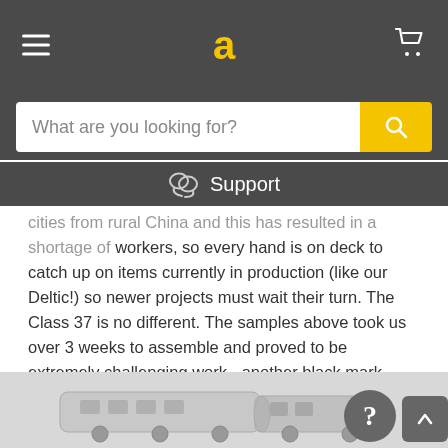a (logo) — navigation header with hamburger menu and cart icon
What are you looking for? [search bar with search button]
Support
cities from rural China and this has resulted in a shortage of workers, so every hand is on deck to catch up on items currently in production (like our Deltic!) so newer projects must wait their turn. The Class 37 is no different. The samples above took us over 3 weeks to assemble and proved to be extremely challenging work - another black mark against moving production elsewhere alongside considerable price increases and available labour!
[Figure (photo): Photo of a model train (Class 37 locomotive) in white/silver livery, partially visible at the bottom of the page.]